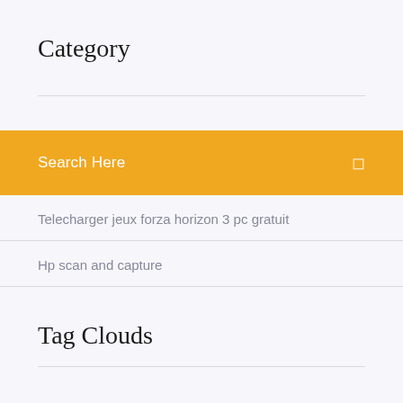Category
Telecharger jeux forza horizon 3 pc gratuit
Hp scan and capture
Tag Clouds